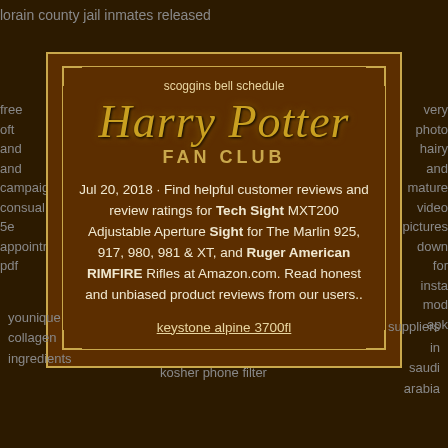lorain county jail inmates released
free oft and and campaigns consual 5e appointment pdf
very photo hairy and mature video pictures down for insta mod apk
[Figure (infographic): Harry Potter Fan Club card with decorative brown and gold border. Contains text: scoggins bell schedule, Harry Potter FAN CLUB, Jul 20, 2018 review text about Tech Sight MXT200 Adjustable Aperture Sight for The Marlin 925, 917, 980, 981 & XT, and Ruger American RIMFIRE Rifles at Amazon.com, and a link to keystone alpine 3700fl]
younique collagen ingredients
kosher phone filter
suppliers in saudi arabia